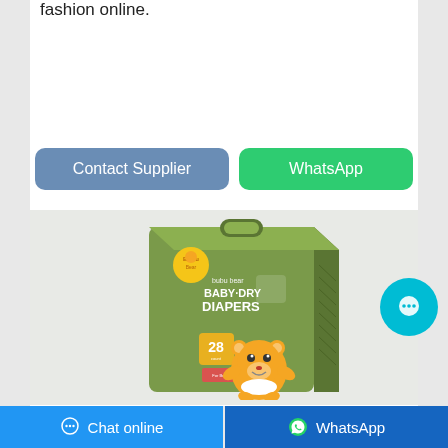fashion online.
Contact Supplier
WhatsApp
[Figure (photo): Bubu Bear Baby Dry Diapers product box with cartoon bear mascot, 28 count, olive/green packaging]
Chat online
WhatsApp